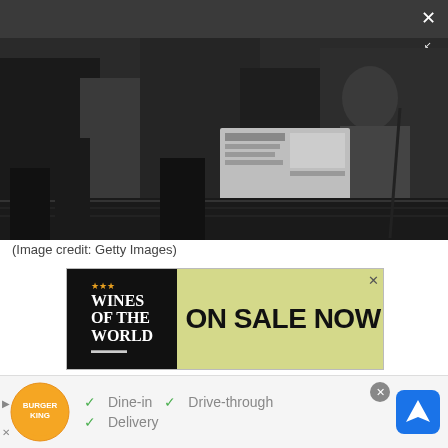[Figure (photo): Black and white photograph of people in formal attire, one reading a newspaper, in what appears to be an indoor formal setting with a patterned rug.]
(Image credit: Getty Images)
[Figure (other): Advertisement for 'Wines of the World' book with text 'ON SALE NOW' on a yellow-green background.]
After his retirement in 2017, Prince Philip spent much of his time on the Sandringham Estate, living in the Wood...
[Figure (other): Burger King advertisement showing logo with Dine-in, Drive-through, and Delivery options, with a Google Maps navigation icon.]